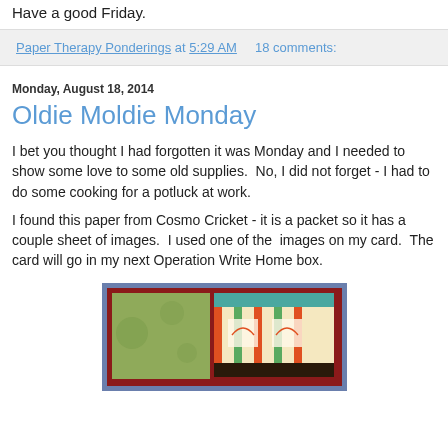Have a good Friday.
Paper Therapy Ponderings at 5:29 AM    18 comments:
Monday, August 18, 2014
Oldie Moldie Monday
I bet you thought I had forgotten it was Monday and I needed to show some love to some old supplies.  No, I did not forget - I had to do some cooking for a potluck at work.
I found this paper from Cosmo Cricket - it is a packet so it has a couple sheet of images.  I used one of the  images on my card.  The card will go in my next Operation Write Home box.
[Figure (photo): A handmade greeting card with colorful patterned paper including green, striped, and teal sections on a red and blue background.]